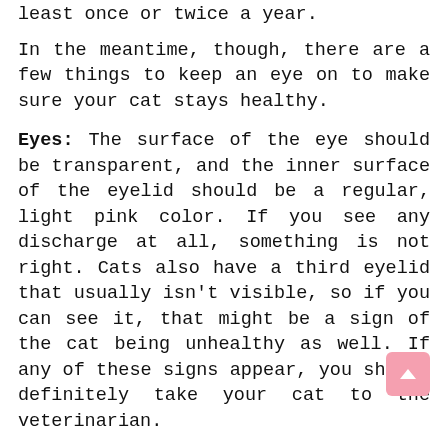least once or twice a year.
In the meantime, though, there are a few things to keep an eye on to make sure your cat stays healthy.
Eyes: The surface of the eye should be transparent, and the inner surface of the eyelid should be a regular, light pink color. If you see any discharge at all, something is not right. Cats also have a third eyelid that usually isn't visible, so if you can see it, that might be a sign of the cat being unhealthy as well. If any of these signs appear, you should definitely take your cat to the veterinarian.
Ears: Examine the ears for any discharge, or if the cat appears to be feeling discomfort inside her ears. None of these conditions are typical for a healthy cat and could be signs of ear mites or a bacterial infection.
Mouth: Have a look along the gumline, and on the surface of the teeth to check if you